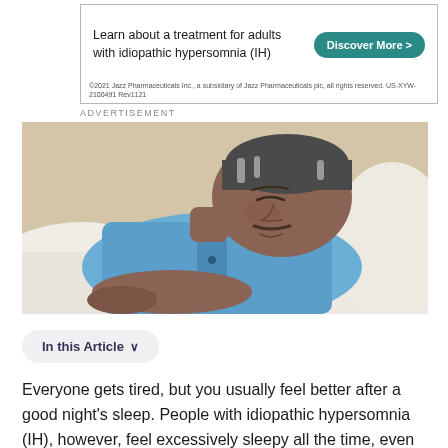[Figure (advertisement): Ad banner for Jazz Pharmaceuticals about a treatment for adults with idiopathic hypersomnia (IH), with a 'Discover More >' button and fine print copyright notice.]
ADVERTISEMENT
[Figure (photo): A middle-aged man with gray-streaked hair lying in bed on a white pillow, wearing a blue shirt, appearing to be sleeping or resting comfortably.]
In this Article ∨
Everyone gets tired, but you usually feel better after a good night's sleep. People with idiopathic hypersomnia (IH), however, feel excessively sleepy all the time, even after a full night of rest.